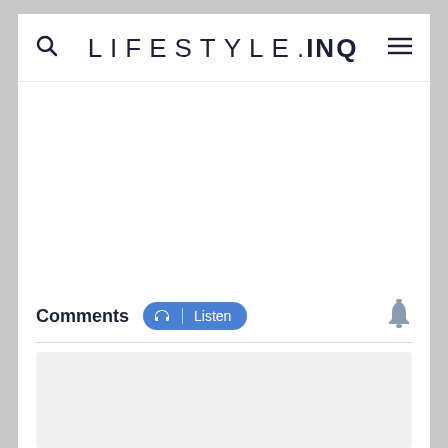LIFESTYLE.INQ
Comments
[Figure (screenshot): Listen button with headphone icon]
[Figure (other): Light gray content placeholder box]